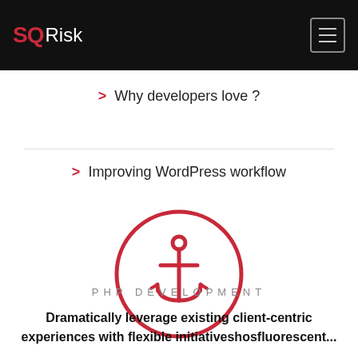SQ Risk
> Why developers love ?
> Improving WordPress workflow
[Figure (illustration): Red anchor icon inside a red circle on white background]
PHP DEVELOPMENT
Dramatically leverage existing client-centric experiences with flexible initiativeshosfluorescent...